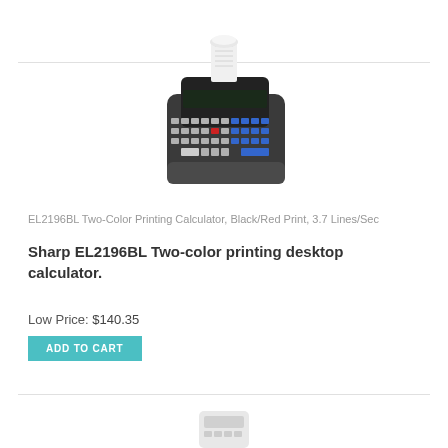[Figure (photo): Sharp EL2196BL two-color printing desktop calculator, shown at an angle with paper tape coming out of the top. Dark body with blue and white buttons, a red key, and a digital display.]
EL2196BL Two-Color Printing Calculator, Black/Red Print, 3.7 Lines/Sec
Sharp EL2196BL Two-color printing desktop calculator.
Low Price: $140.35
ADD TO CART
[Figure (photo): Partial view of a second product image at the bottom of the page — appears to be a white calculator or office device, cropped.]